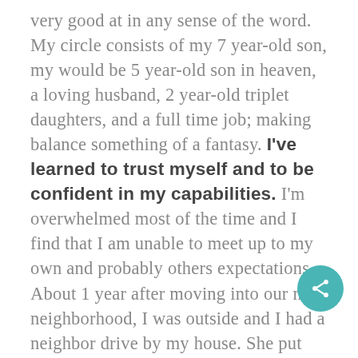very good at in any sense of the word.  My circle consists of my 7 year-old son, my would be 5 year-old son in heaven, a loving husband, 2 year-old triplet daughters, and a full time job; making balance something of a fantasy.  I've learned to trust myself and to be confident in my capabilities. I'm overwhelmed most of the time and I find that I am unable to meet up to my own and probably others expectations.  About 1 year after moving into our new neighborhood, I was outside and I had a neighbor drive by my house.  She put her car in reverse and rolled down her window and kindly exclaimed, "Kelly you did your hair, I've never seen you with your hair done!".  I awkwardly nodded, thanked her, and laughed about what a mess my neighbors must think I am.  I stay away